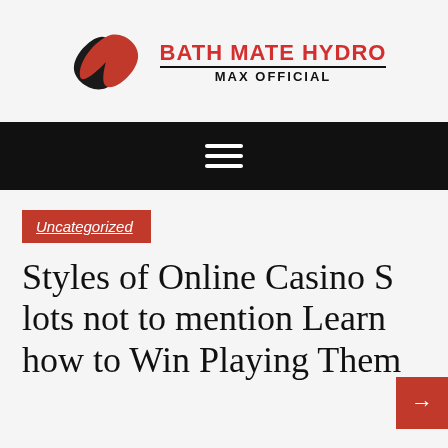[Figure (logo): Bath Mate Hydro Max Official logo with red and black swirl icon and bold red text]
Navigation bar with hamburger menu icon
Uncategorized
Styles of Online Casino Slots not to mention Learn how to Win Playing Them